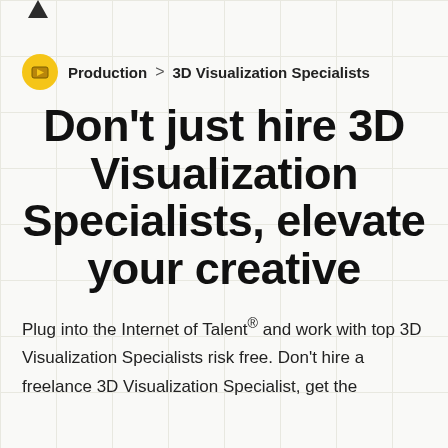Production > 3D Visualization Specialists
Don’t just hire 3D Visualization Specialists, elevate your creative
Plug into the Internet of Talent® and work with top 3D Visualization Specialists risk free. Don’t hire a freelance 3D Visualization Specialist, get the